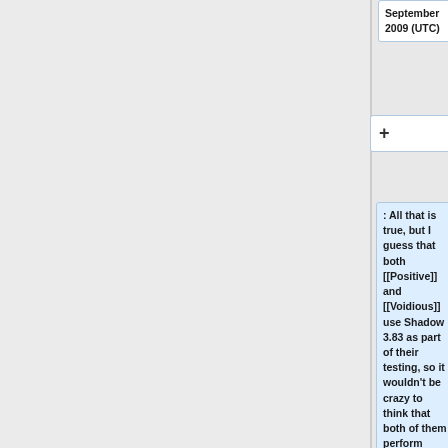September 2009 (UTC)
+
: All that is true, but I guess that both [[Positive]] and [[Voidious]] use Shadow 3.83 as part of their testing, so it wouldn't be crazy to think that both of them perform better against 3.83 and in general, than the versions that 3.83 actually fought in the rumble